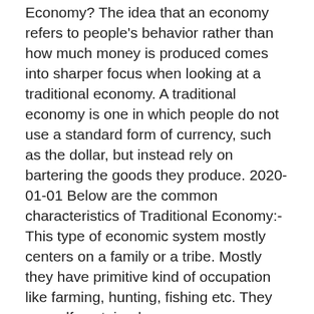Economy? The idea that an economy refers to people's behavior rather than how much money is produced comes into sharper focus when looking at a traditional economy. A traditional economy is one in which people do not use a standard form of currency, such as the dollar, but instead rely on bartering the goods they produce. 2020-01-01 Below are the common characteristics of Traditional Economy:- This type of economic system mostly centers on a family or a tribe. Mostly they have primitive kind of occupation like farming, hunting, fishing etc. They are self-sustained.
Cdon kundtjänst sämst
Bokfora fusion